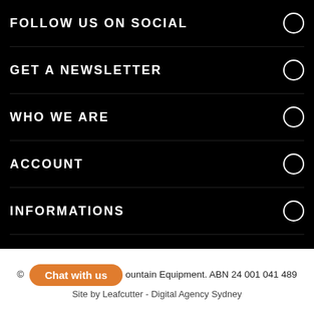FOLLOW US ON SOCIAL
GET A NEWSLETTER
WHO WE ARE
ACCOUNT
INFORMATIONS
© [Chat with us] ountain Equipment. ABN 24 001 041 489
Site by Leafcutter - Digital Agency Sydney